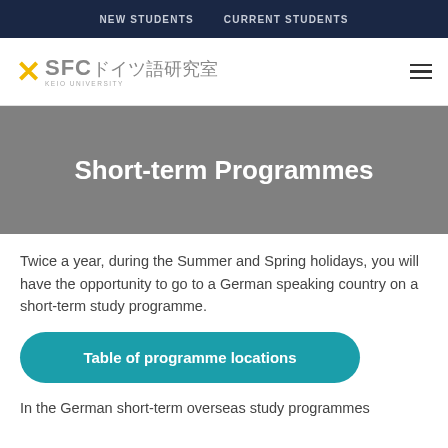NEW STUDENTS   CURRENT STUDENTS
[Figure (logo): SFC German Studies logo with yellow X icon and Japanese text ドイツ語研究室, KEIO UNIVERSITY subtitle]
Short-term Programmes
Twice a year, during the Summer and Spring holidays, you will have the opportunity to go to a German speaking country on a short-term study programme.
Table of programme locations
In the German short-term overseas study programmes